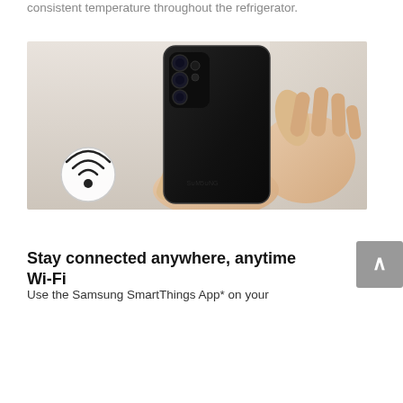consistent temperature throughout the refrigerator.
[Figure (photo): A person holding a black Samsung smartphone (viewed from the back showing the camera module), with a Wi-Fi icon overlaid in a white circle in the lower left corner of the photo.]
Stay connected anywhere, anytime Wi-Fi
Use the Samsung SmartThings App* on your